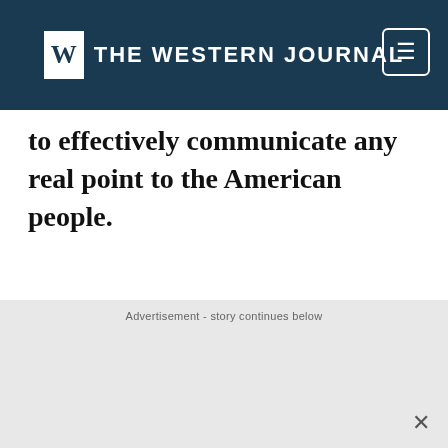THE WESTERN JOURNAL
to effectively communicate any real point to the American people.
Advertisement - story continues below